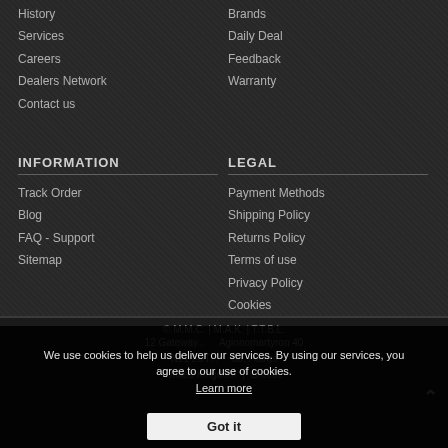History
Services
Careers
Dealers Network
Contact us
Brands
Daily Deal
Feedback
Warranty
INFORMATION
Track Order
Blog
FAQ - Support
Sitemap
LEGAL
Payment Methods
Shipping Policy
Returns Policy
Terms of use
Privacy Policy
Cookies
12 Gateway ... Agionomartyron 40
N11 2UT ... 33, Patras
United Kingdom | Greece
We use cookies to help us deliver our services. By using our services, you agree to our use of cookies. Learn more